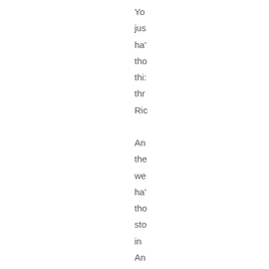Yo
jus
ha'
tho
thi:
thr
Ric

An
the
we
ha'
tho
sto
in
An
tha